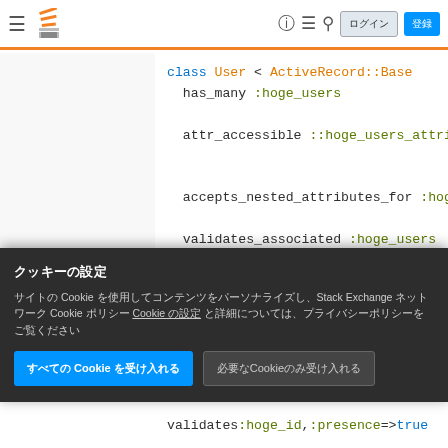Stack Overflow navigation bar with logo, hamburger menu, help, chat, search, login and register buttons
class User < ActiveRecord::Base
  has_many :hoge_users

  attr_accessible ::hoge_users_attributes


  accepts_nested_attributes_for :hoge_users

  validates_associated :hoge_users
  validate :should_have_at_least_one_hoge_u

  def should_have_at_least_one_hoge_user
    errors.add(:hoge_users, 'should have at
  end
クッキーの設定
サイト Cookie を使用してコンテンツをパーソナライズStack Exchange のネットワーク Cookie ポリシー Cookie の設定と詳細については、プライバシーポリシーをご覧ください
すべての Cookie を受け入れる　　必要なCookieのみ受け入れる
validates :hoge_id, :presence => true